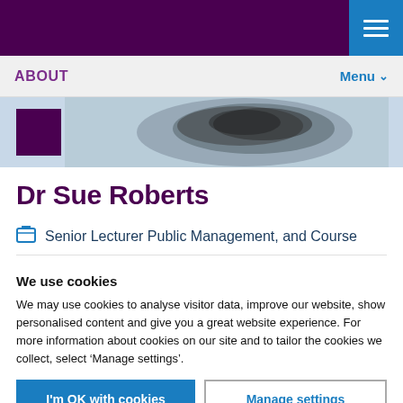ABOUT   Menu
[Figure (photo): Hero image strip with purple block on left and dark textured image on right (person wearing dark fur or textured garment)]
Dr Sue Roberts
Senior Lecturer Public Management, and Course
We use cookies
We may use cookies to analyse visitor data, improve our website, show personalised content and give you a great website experience. For more information about cookies on our site and to tailor the cookies we collect, select ‘Manage settings’.
I'm OK with cookies | Manage settings